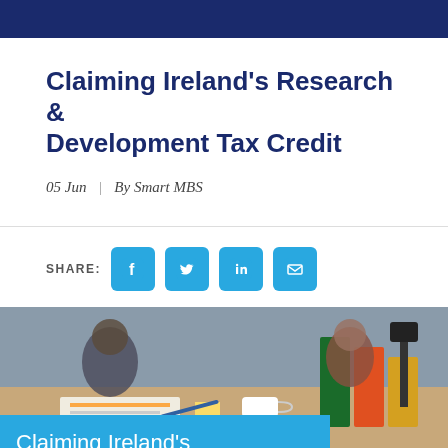Claiming Ireland's Research & Development Tax Credit
05 Jun  |  By Smart MBS
SHARE:
[Figure (photo): Office desk scene with people working, documents, folders, and a mug. Blue banner overlay at the bottom reads 'Claiming Ireland's']